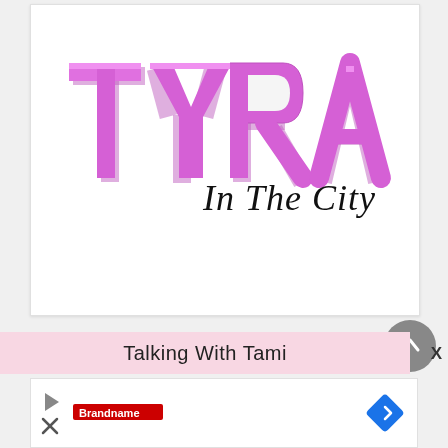[Figure (logo): Tyra In The City logo — large pink block letters spelling TYRA with cursive script 'In The City' overlaid in black]
Talking With Tami
[Figure (screenshot): Advertisement banner at the bottom with a play button icon, text logo, and a blue navigation arrow icon]